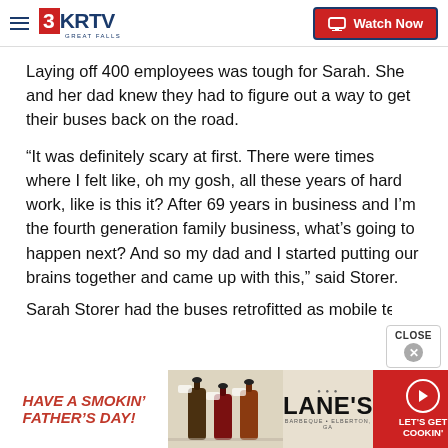3KRTV GREAT FALLS — Watch Now
Laying off 400 employees was tough for Sarah. She and her dad knew they had to figure out a way to get their buses back on the road.
“It was definitely scary at first. There were times where I felt like, oh my gosh, all these years of hard work, like is this it? After 69 years in business and I’m the fourth generation family business, what’s going to happen next? And so my dad and I started putting our brains together and came up with this,” said Storer.
Sarah Storer had the buses retrofitted as mobile te…
[Figure (advertisement): Lane's BBQ Father's Day advertisement banner with bottles of sauce and 'Let's Get Cookin' call to action button]